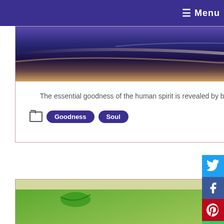☰ Menu
[Figure (photo): Abstract image with purple/blue gradient and light streaks, watermark visible]
The essential goodness of the human spirit is revealed by burning the dross of the personality.
Goodness   Soul
[Figure (photo): Image of bees with text overlay: 'When detached from the fruits of our labours, we can better']